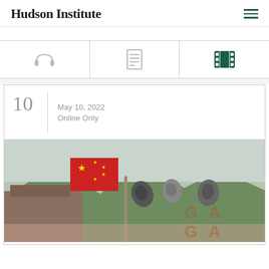Hudson Institute
[Figure (screenshot): Filter row with three icons: headphones (audio), document (text), and film strip (video)]
10  May 10, 2022  Online Only
[Figure (photo): Photo of surveillance cameras mounted on a pole with a Chinese flag and mountains in the background]